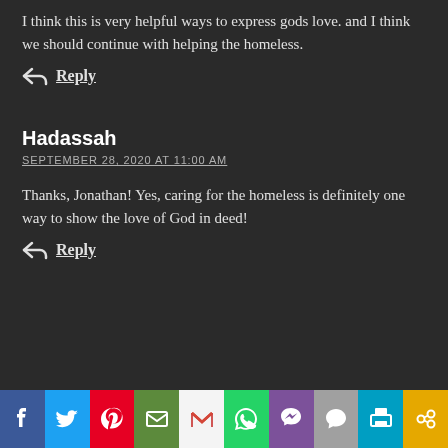I think this is very helpful ways to express gods love. and I think we should continue with helping the homeless.
Reply
Hadassah
SEPTEMBER 28, 2020 AT 11:00 AM
Thanks, Jonathan! Yes, caring for the homeless is definitely one way to show the love of God in deed!
Reply